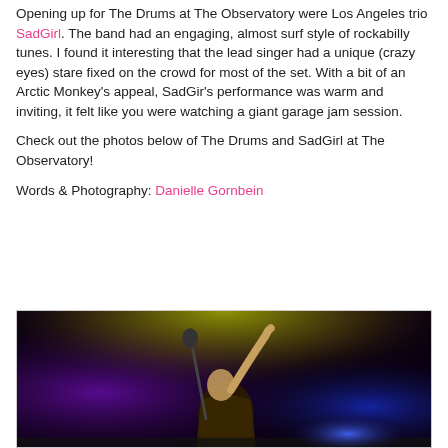Opening up for The Drums at The Observatory were Los Angeles trio SadGirl. The band had an engaging, almost surf style of rockabilly tunes. I found it interesting that the lead singer had a unique (crazy eyes) stare fixed on the crowd for most of the set. With a bit of an Arctic Monkey's appeal, SadGir's performance was warm and inviting, it felt like you were watching a giant garage jam session.
Check out the photos below of The Drums and SadGirl at The Observatory!
Words & Photography: Danielle Gornbein
[Figure (photo): Concert photo of a performer on stage at The Observatory, lit by purple and yellow stage lights, with the performer reaching upward with one arm]